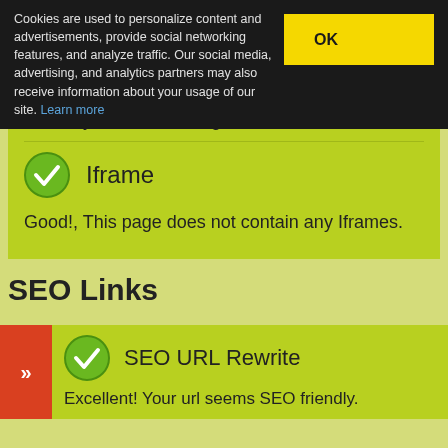Cookies are used to personalize content and advertisements, provide social networking features, and analyze traffic. Our social media, advertising, and analytics partners may also receive information about your usage of our site. Learn more
Good!, you are not using Flash content.
Iframe
Good!, This page does not contain any Iframes.
SEO Links
SEO URL Rewrite
Excellent! Your url seems SEO friendly.